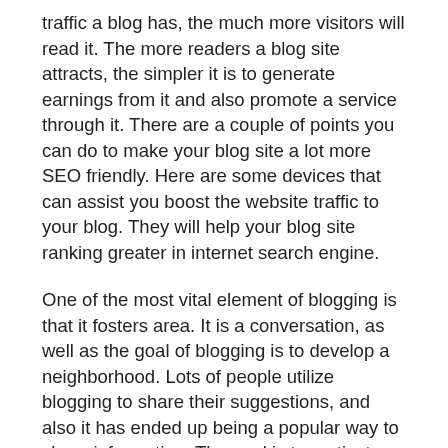traffic a blog has, the much more visitors will read it. The more readers a blog site attracts, the simpler it is to generate earnings from it and also promote a service through it. There are a couple of points you can do to make your blog site a lot more SEO friendly. Here are some devices that can assist you boost the website traffic to your blog. They will help your blog site ranking greater in internet search engine.
One of the most vital element of blogging is that it fosters area. It is a conversation, as well as the goal of blogging is to develop a neighborhood. Lots of people utilize blogging to share their suggestions, and also it has ended up being a popular way to share information. The goal is to motivate as well as develop an audience for your blog, and also to show what is currently taking place in the world. There are several benefits to blog writing, as well as the possibilities are endless. A successful blog site is a beneficial device in advertising